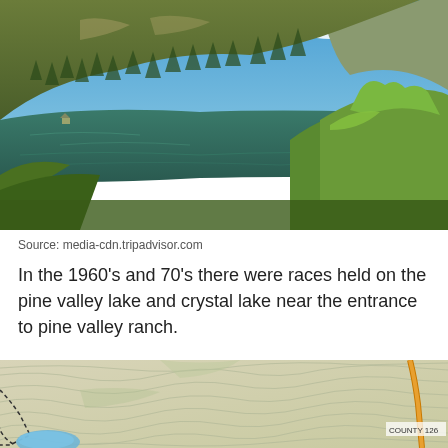[Figure (photo): Landscape photo of a mountain lake surrounded by pine-covered hills and green shrubs in the foreground, blue sky with clouds above.]
Source: media-cdn.tripadvisor.com
In the 1960's and 70's there were races held on the pine valley lake and crystal lake near the entrance to pine valley ranch.
[Figure (map): Topographic map showing contour lines on a beige/green background with an orange road (COUNTY 126) on the right edge and a blue water body at the bottom left with a dashed trail boundary.]